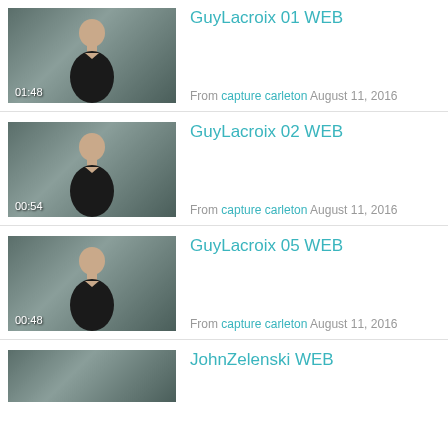[Figure (screenshot): Video thumbnail showing a man in a black polo shirt against a gray background, duration 01:48]
GuyLacroix 01 WEB
From capture carleton August 11, 2016
[Figure (screenshot): Video thumbnail showing a man in a black polo shirt against a gray background, duration 00:54]
GuyLacroix 02 WEB
From capture carleton August 11, 2016
[Figure (screenshot): Video thumbnail showing a man in a black polo shirt against a gray background, duration 00:48]
GuyLacroix 05 WEB
From capture carleton August 11, 2016
[Figure (screenshot): Video thumbnail showing a person against a gray background, partial view]
JohnZelenski WEB